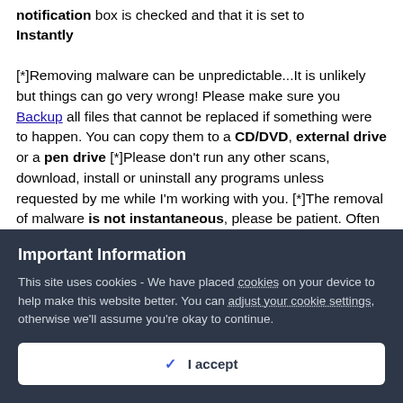notification box is checked and that it is set to Instantly
[*]Removing malware can be unpredictable...It is unlikely but things can go very wrong! Please make sure you Backup all files that cannot be replaced if something were to happen. You can copy them to a CD/DVD, external drive or a pen drive [*]Please don't run any other scans, download, install or uninstall any programs unless requested by me while I'm working with you. [*]The removal of malware is not instantaneous, please be patient. Often we are also on a different Time Zone. [*]Perform everything in the correct order. Sometimes one
Important Information
This site uses cookies - We have placed cookies on your device to help make this website better. You can adjust your cookie settings, otherwise we'll assume you're okay to continue.
✓ I accept